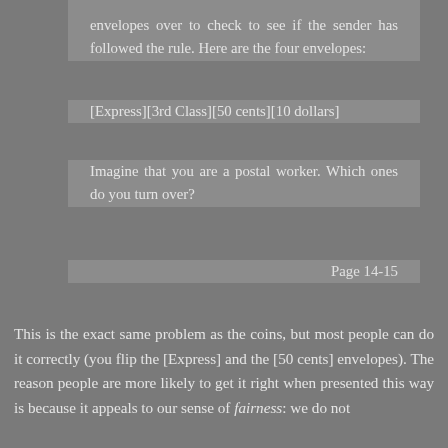envelopes over to check to see if the sender has followed the rule. Here are the four envelopes:
[Express][3rd Class][50 cents][10 dollars]
Imagine that you are a postal worker. Which ones do you turn over?
Page 14-15
This is the exact same problem as the coins, but most people can do it correctly (you flip the [Express] and the [50 cents] envelopes). The reason people are more likely to get it right when presented this way is because it appeals to our sense of fairness: we do not